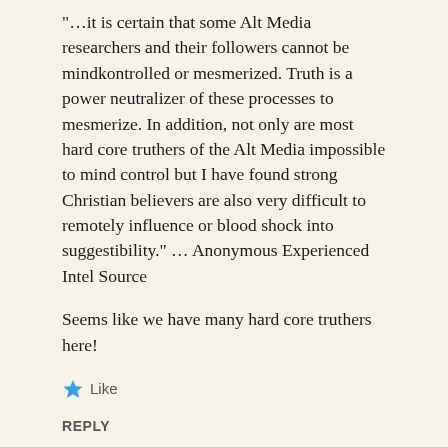"…it is certain that some Alt Media researchers and their followers cannot be mindkontrolled or mesmerized. Truth is a power neutralizer of these processes to mesmerize. In addition, not only are most hard core truthers of the Alt Media impossible to mind control but I have found strong Christian believers are also very difficult to remotely influence or blood shock into suggestibility." … Anonymous Experienced Intel Source
Seems like we have many hard core truthers here!
Like
REPLY